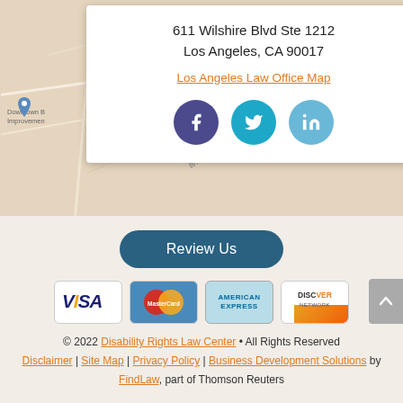[Figure (map): Google map background showing downtown Los Angeles area with street layout]
611 Wilshire Blvd Ste 1212
Los Angeles, CA 90017
Los Angeles Law Office Map
[Figure (other): Social media icons: Facebook, Twitter, LinkedIn]
Review Us
[Figure (other): Payment method icons: VISA, MasterCard, American Express, Discover Network]
© 2022 Disability Rights Law Center • All Rights Reserved
Disclaimer | Site Map | Privacy Policy | Business Development Solutions by FindLaw, part of Thomson Reuters